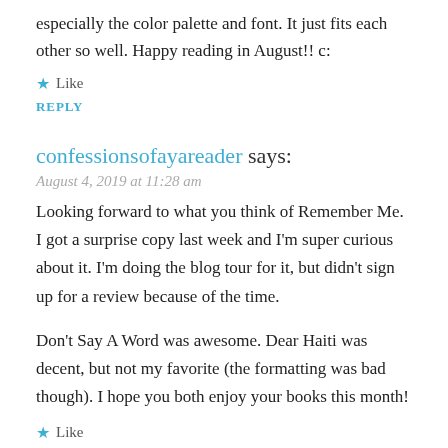especially the color palette and font. It just fits each other so well. Happy reading in August!! c:
★ Like
REPLY
confessionsofayareader says:
August 4, 2019 at 11:28 am
Looking forward to what you think of Remember Me. I got a surprise copy last week and I'm super curious about it. I'm doing the blog tour for it, but didn't sign up for a review because of the time.
Don't Say A Word was awesome. Dear Haiti was decent, but not my favorite (the formatting was bad though). I hope you both enjoy your books this month!
★ Like
REPLY